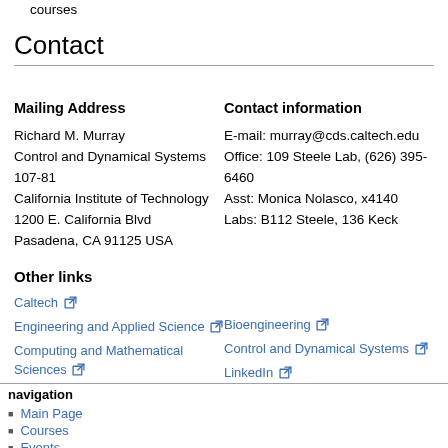courses
Contact
Mailing Address
Richard M. Murray
Control and Dynamical Systems
107-81
California Institute of Technology
1200 E. California Blvd
Pasadena, CA 91125 USA
Contact information
E-mail: murray@cds.caltech.edu
Office: 109 Steele Lab, (626) 395-6460
Asst: Monica Nolasco, x4140
Labs: B112 Steele, 136 Keck
Other links
Caltech
Engineering and Applied Science
Bioengineering
Computing and Mathematical Sciences
Control and Dynamical Systems
LinkedIn
navigation
Main Page
Courses
Events
Preprints